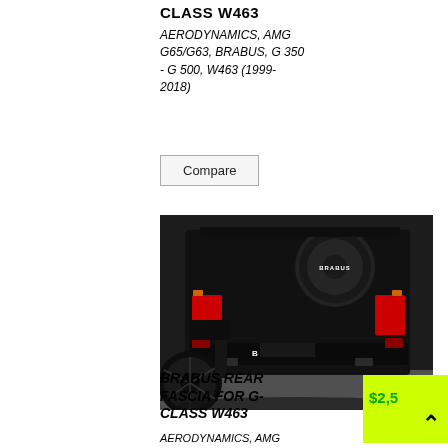CLASS W463
AERODYNAMICS, AMG G65/G63, BRABUS, G 350 - G 500, W463 (1999-2018)
Compare
[Figure (photo): Rear view of a black BRABUS G-Class W463 SUV showing the rear bumper fascia with BRABUS badging, spare tire cover with BRABUS logo, red tail lights, and alloy wheels on a grey floor.]
BRABUS REAR FASCIA FOR G-CLASS W463
AERODYNAMICS, AMG
$2,5...